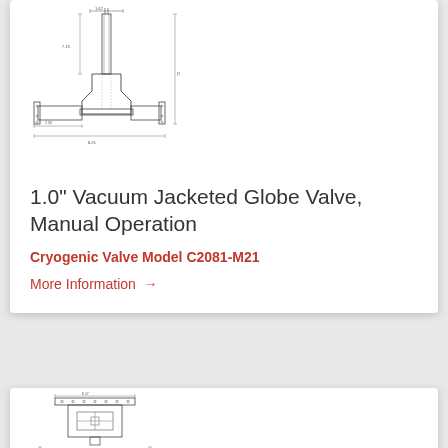[Figure (engineering-diagram): Technical line drawing of a 1.0 inch Vacuum Jacketed Globe Valve with dimension annotations, showing the valve body, stem, and flange connections from a front view]
1.0" Vacuum Jacketed Globe Valve, Manual Operation
Cryogenic Valve Model C2081-M21
More Information →
[Figure (engineering-diagram): Technical line drawing of a larger cryogenic valve assembly with dimension annotations, showing the valve body, actuator, stem extension, and connection details from a front view, partially cut off at bottom of page]